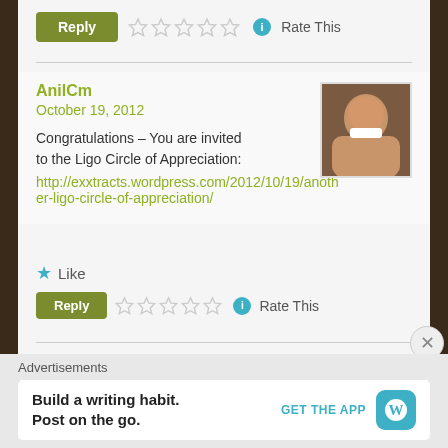Reply | ☆☆☆☆☆ (i) Rate This
AnilCm
October 19, 2012
Congratulations – You are invited to the Ligo Circle of Appreciation:
http://exxtracts.wordpress.com/2012/10/19/another-ligo-circle-of-appreciation/
★ Like
Reply | ☆☆☆☆☆ (i) Rate This
Advertisements
Build a writing habit. Post on the go. GET THE APP [WordPress]